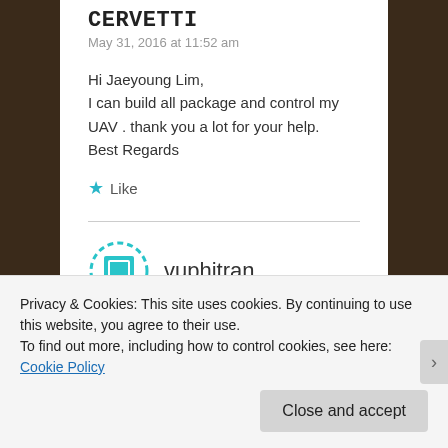CERVETTI
May 31, 2016 at 11:52 am
Hi Jaeyoung Lim,
I can build all package and control my UAV . thank you a lot for your help.
Best Regards
★ Like
[Figure (logo): Teal dashed square avatar icon for user vuphitran]
vuphitran
Privacy & Cookies: This site uses cookies. By continuing to use this website, you agree to their use.
To find out more, including how to control cookies, see here: Cookie Policy
Close and accept